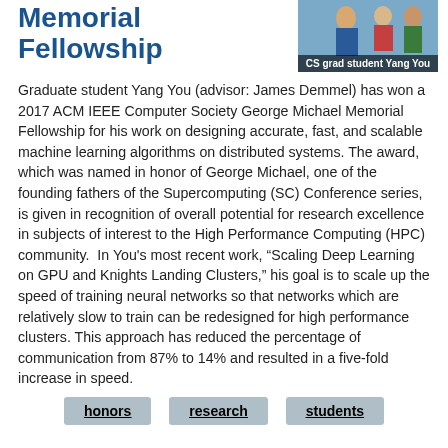Memorial Fellowship
[Figure (photo): Photo of CS grad student Yang You with caption bar reading 'CS grad student Yang You']
CS grad student Yang You
Graduate student Yang You (advisor: James Demmel) has won a 2017 ACM IEEE Computer Society George Michael Memorial Fellowship for his work on designing accurate, fast, and scalable machine learning algorithms on distributed systems. The award, which was named in honor of George Michael, one of the founding fathers of the Supercomputing (SC) Conference series, is given in recognition of overall potential for research excellence in subjects of interest to the High Performance Computing (HPC) community.  In You's most recent work, “Scaling Deep Learning on GPU and Knights Landing Clusters,” his goal is to scale up the speed of training neural networks so that networks which are relatively slow to train can be redesigned for high performance clusters. This approach has reduced the percentage of communication from 87% to 14% and resulted in a five-fold increase in speed.
honors
research
students